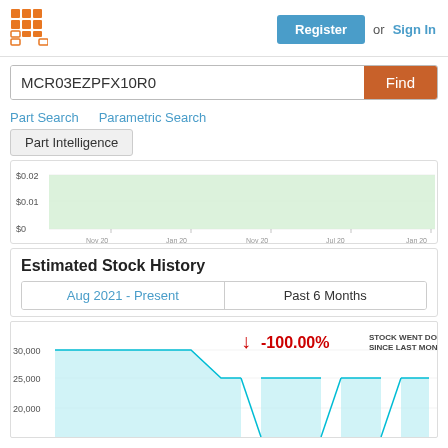[Figure (logo): Orange grid/waffle logo icon]
Register  or  Sign In
MCR03EZPFX10R0  Find
Part Search   Parametric Search
Part Intelligence
[Figure (area-chart): Green area chart showing price around $0.02, $0.01, and $0 levels over time]
Estimated Stock History
Aug 2021 - Present   Past 6 Months
[Figure (area-chart): Cyan/teal area chart showing stock history with values around 30,000, 25,000, and 20,000. Shows -100.00% STOCK WENT DOWN SINCE LAST MONTH]